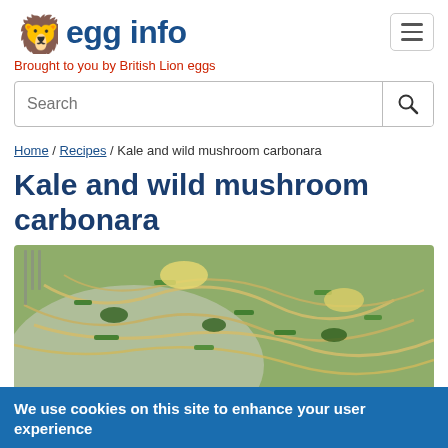egg info — Brought to you by British Lion eggs
Search
Home / Recipes / Kale and wild mushroom carbonara
Kale and wild mushroom carbonara
[Figure (photo): Close-up photograph of kale and wild mushroom carbonara pasta dish on a white plate, showing spaghetti noodles with green kale, green beans, and parmesan cheese]
We use cookies on this site to enhance your user experience